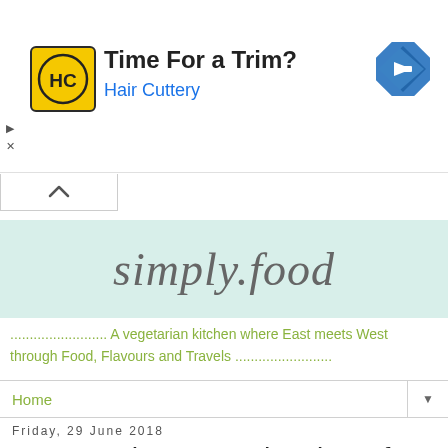[Figure (infographic): Advertisement banner for Hair Cuttery with yellow logo showing 'HC', text 'Time For a Trim?' and 'Hair Cuttery' in blue, and a blue navigation arrow icon on the right.]
[Figure (logo): simply.food website logo in cursive/script font on a light mint/teal background.]
......................... A vegetarian kitchen where East meets West through Food, Flavours and Travels .........................
Home
Friday, 29 June 2018
Tomato Chutney and review of Masala
3 Shares